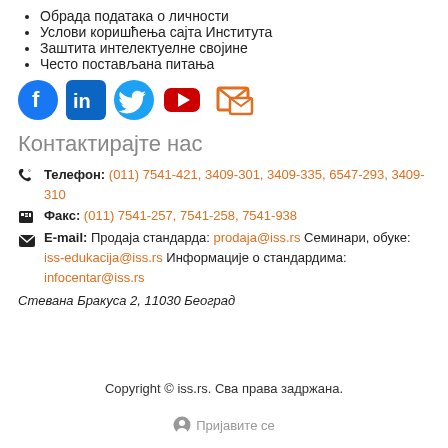Обрада података о личности
Услови коришћења сајта Института
Заштита интелектуелне својине
Често постављана питања
[Figure (illustration): Social media icons: Facebook, LinkedIn, Twitter, YouTube, and an email/newsletter icon]
Контактирајте нас
Телефон: (011) 7541-421, 3409-301, 3409-335, 6547-293, 3409-310
Факс: (011) 7541-257, 7541-258, 7541-938
E-mail: Продаја стандарда: prodaja@iss.rs Семинари, обуке: iss-edukacija@iss.rs Информације о стандардима: infocentar@iss.rs
Стевана Бракуса 2, 11030 Београд
Copyright © iss.rs. Сва права задржана.
Пријавите се